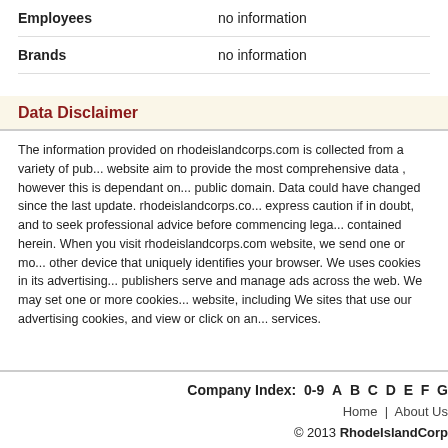| Employees | no information |
| Brands | no information |
Data Disclaimer
The information provided on rhodeislandcorps.com is collected from a variety of public sources. We at this website aim to provide the most comprehensive data , however this is dependant on what is available in the public domain. Data could have changed since the last update. rhodeislandcorps.com advises its visitors to express caution if in doubt, and to seek professional advice before commencing legal action, based on information contained herein. When you visit rhodeislandcorps.com website, we send one or more cookies to your computer or other device that uniquely identifies your browser. We uses cookies in its advertising services to help advertisers and publishers serve and manage ads across the web. We may set one or more cookies in your browser when you visit a website, including We sites that use our advertising cookies, and view or click on an ad supported by Google's advertising services.
Company Index: 0-9 A B C D E F
Home | About Us
© 2013 RhodeIslandCorp